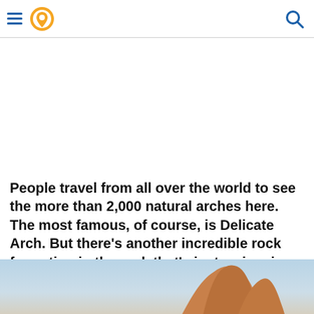Navigation header with hamburger menu, location pin icon, and search icon
[Figure (other): White advertisement/blank area below the header]
People travel from all over the world to see the more than 2,000 natural arches here. The most famous, of course, is Delicate Arch. But there's another incredible rock formation in the park that's just as iconic...
[Figure (photo): Partial photo showing the top of a sandstone rock formation (likely at Arches National Park) against a light blue sky with warm orange tones at the bottom]